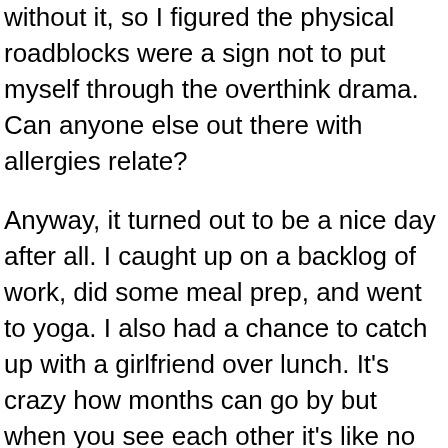without it, so I figured the physical roadblocks were a sign not to put myself through the overthink drama. Can anyone else out there with allergies relate?
Anyway, it turned out to be a nice day after all. I caught up on a backlog of work, did some meal prep, and went to yoga. I also had a chance to catch up with a girlfriend over lunch. It's crazy how months can go by but when you see each other it's like no time at all has passed. Because I wasn't rushing back and forth across town, I also was able to get some work done on a few projects that were stressing me out. Totally worked out for the best.